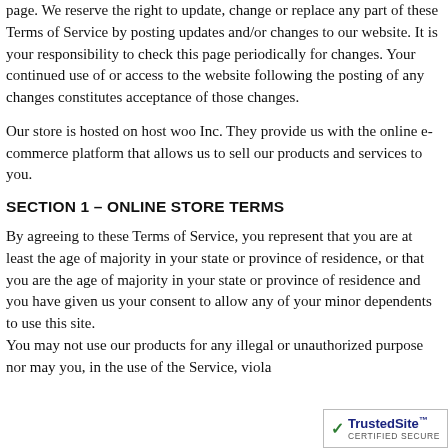page. We reserve the right to update, change or replace any part of these Terms of Service by posting updates and/or changes to our website. It is your responsibility to check this page periodically for changes. Your continued use of or access to the website following the posting of any changes constitutes acceptance of those changes.
Our store is hosted on host woo Inc. They provide us with the online e-commerce platform that allows us to sell our products and services to you.
SECTION 1 – ONLINE STORE TERMS
By agreeing to these Terms of Service, you represent that you are at least the age of majority in your state or province of residence, or that you are the age of majority in your state or province of residence and you have given us your consent to allow any of your minor dependents to use this site. You may not use our products for any illegal or unauthorized purpose nor may you, in the use of the Service, viola